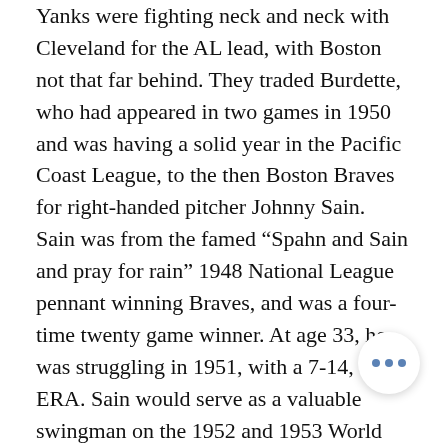Yanks were fighting neck and neck with Cleveland for the AL lead, with Boston not that far behind. They traded Burdette, who had appeared in two games in 1950 and was having a solid year in the Pacific Coast League, to the then Boston Braves for right-handed pitcher Johnny Sain. Sain was from the famed “Spahn and Sain and pray for rain” 1948 National League pennant winning Braves, and was a four-time twenty game winner. At age 33, he was struggling in 1951, with a 7-14, 4.20 ERA. Sain would serve as a valuable swingman on the 1952 and 1953 World Series champion Yankee teams, and led the American League saves in 1954. Burdette would go on to an excellent